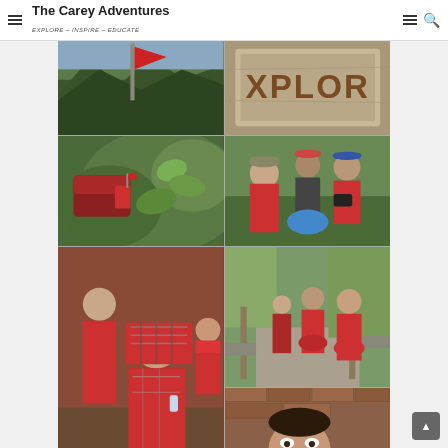The Carey Adventures EXPLORE – INSPIRE – EDUCATE
[Figure (photo): Travel photo collage grid showing adventure/cultural scenes. Top row: mountain valley with red flag, weathered XPLOR sign. Middle row: red mailbox with green plants, group of people in red jackets. Bottom rows: women in red/plaid clothing at outdoor market (tall left), monks in red robes walking path (right top), smiling woman with bindi (right middle), colorful fruits/tomatoes (right bottom).]